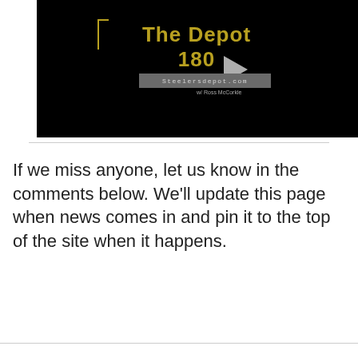[Figure (screenshot): Video thumbnail showing 'The Depot 180' in gold text on black background with a play button, Steelersdepot.com bar, and 'w/ Ross McCorkle' text]
If we miss anyone, let us know in the comments below. We'll update this page when news comes in and pin it to the top of the site when it happens.